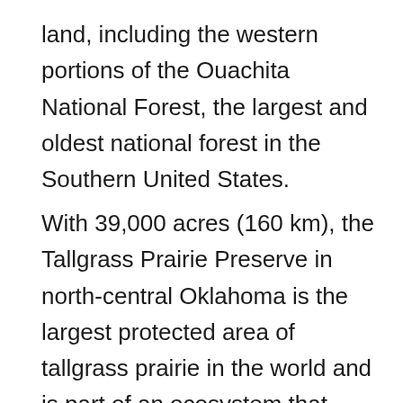land, including the western portions of the Ouachita National Forest, the largest and oldest national forest in the Southern United States.
With 39,000 acres (160 km), the Tallgrass Prairie Preserve in north-central Oklahoma is the largest protected area of tallgrass prairie in the world and is part of an ecosystem that encompasses only ten percent of its former land area, once covering fourteen states. In addition, the Black Kettle National Grassland covers 31,300 acres (127 km) of prairie in southwestern Oklahoma. The Wichita